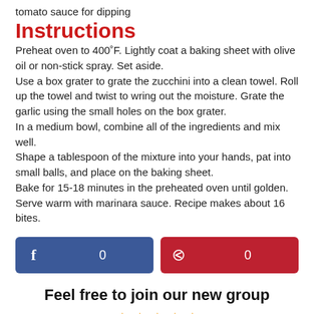tomato sauce for dipping
Instructions
Preheat oven to 400˚F. Lightly coat a baking sheet with olive oil or non-stick spray. Set aside.
Use a box grater to grate the zucchini into a clean towel. Roll up the towel and twist to wring out the moisture. Grate the garlic using the small holes on the box grater.
In a medium bowl, combine all of the ingredients and mix well.
Shape a tablespoon of the mixture into your hands, pat into small balls, and place on the baking sheet.
Bake for 15-18 minutes in the preheated oven until golden. Serve warm with marinara sauce. Recipe makes about 16 bites.
[Figure (other): Facebook share button showing count 0 and Pinterest share button showing count 0]
Feel free to join our new group
[Figure (other): Row of star/emoji icons at the bottom]